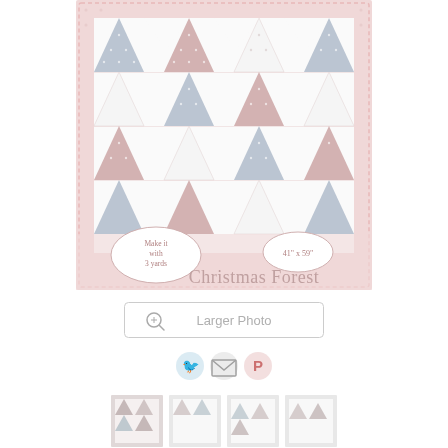[Figure (illustration): A quilt pattern called 'Christmas Forest' showing rows of triangle shapes (stylized Christmas trees) in pink/red, gray/blue, and white dotted fabrics, arranged in a rectangular quilt with a pink dotted border. Two oval labels: 'Make it with 3 yards' and '41" x 59"'. Title text at bottom reads 'Christmas Forest'.]
[Figure (screenshot): A button labeled 'Larger Photo' with a magnifying glass icon, in a rounded rectangle border.]
[Figure (other): Social media icons row: Twitter bird icon (blue), email/envelope icon (gray), Pinterest P icon (red/pink).]
[Figure (other): A row of small thumbnail images at the bottom of the page showing small previews of the quilt pattern.]